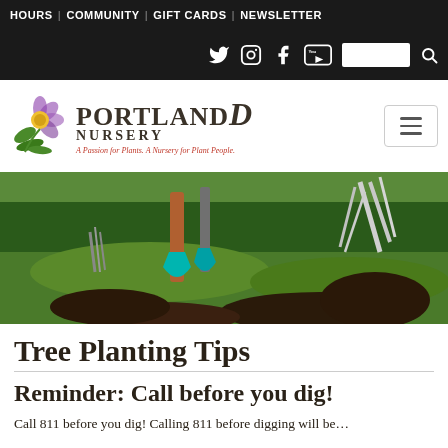HOURS | COMMUNITY | GIFT CARDS | NEWSLETTER
[Figure (screenshot): Social media icons bar: Twitter, Instagram, Facebook, YouTube, search box with magnifier icon on dark background]
[Figure (logo): Portland Nursery logo with flower illustration, text 'PORTLAND NURSERY', tagline 'A Passion for Plants. A Nursery for Plant People.']
[Figure (photo): Outdoor garden photo showing a teal/turquoise shovel and bare-root shrub or tree being transplanted in a green grassy garden setting, with dark soil visible]
Tree Planting Tips
Reminder: Call before you dig!
Call 811 before you dig! Calling 811 before digging will help...